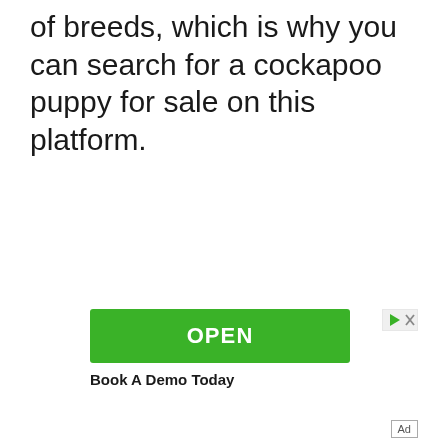of breeds, which is why you can search for a cockapoo puppy for sale on this platform.
[Figure (other): Advertisement banner with green OPEN button and 'Book A Demo Today' text, with ad controls (play/close icons) in top right]
Ad